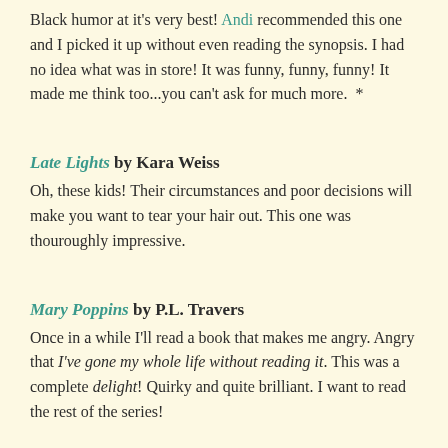Black humor at it's very best! Andi recommended this one and I picked it up without even reading the synopsis. I had no idea what was in store! It was funny, funny, funny! It made me think too...you can't ask for much more. *
Late Lights by Kara Weiss
Oh, these kids! Their circumstances and poor decisions will make you want to tear your hair out. This one was thouroughly impressive.
Mary Poppins by P.L. Travers
Once in a while I'll read a book that makes me angry. Angry that I've gone my whole life without reading it. This was a complete delight! Quirky and quite brilliant. I want to read the rest of the series!
Successful day, super great books. I feel like a very